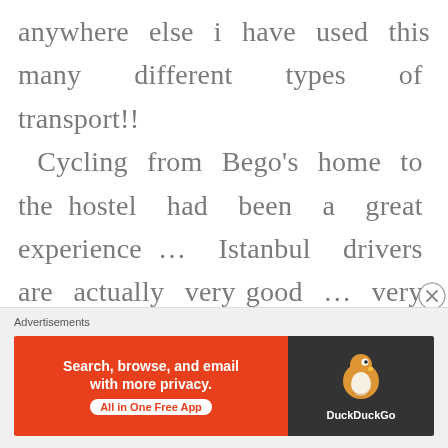anywhere else i have used this many different types of transport!! Cycling from Bego's home to the hostel had been a great experience … Istanbul drivers are actually very good … very fast! but very good … and thankfully Istanbul is more a city of cats rather than dogs and so I was not feeling I had to keep a
[Figure (other): DuckDuckGo advertisement banner with orange left panel showing 'Search, browse, and email with more privacy. All in One Free App' and dark right panel with DuckDuckGo duck logo]